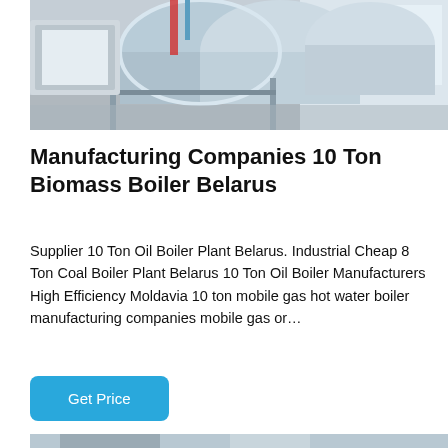[Figure (photo): Industrial boiler equipment in a factory setting — large cylindrical blue-grey boiler units with metal frames, pipes, and industrial fixtures in a bright warehouse space.]
Manufacturing Companies 10 Ton Biomass Boiler Belarus
Supplier 10 Ton Oil Boiler Plant Belarus. Industrial Cheap 8 Ton Coal Boiler Plant Belarus 10 Ton Oil Boiler Manufacturers High Efficiency Moldavia 10 ton mobile gas hot water boiler manufacturing companies mobile gas or…
[Figure (photo): Industrial boiler installation inside a factory — large white/blue boiler with surrounding scaffolding, metal pipes and structural framework under a bright roof.]